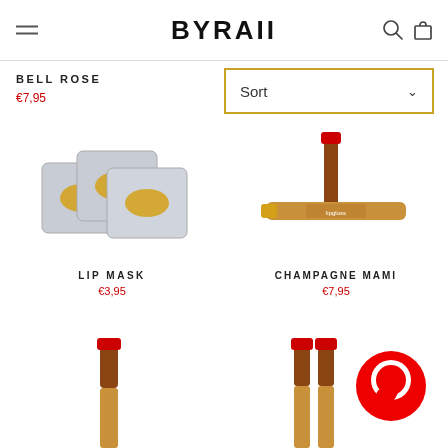BYRAII
BELL ROSE
€7,95
[Figure (screenshot): Sort dropdown with gold border]
[Figure (photo): Three silver lip mask packets with gold lip imprint]
LIP MASK
€3,95
[Figure (photo): Champagne-colored lip gloss tube and applicator]
CHAMPAGNE MAMI
€7,95
[Figure (photo): Red lip product tube partially visible]
[Figure (photo): Two red lip product tubes with red circular chat icon]